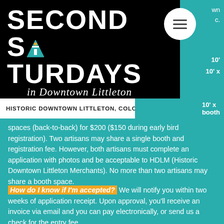[Figure (logo): Second Saturdays in Downtown Littleton logo on black background with white text and hamburger menu circle]
HISTORIC DOWNTOWN LITTLETON, COLORADO
booth spaces (back-to-back) for $200 ($150 during early bird registration). Two artisans may share a single booth and registration fee. However, both artisans must complete an application with photos and be acceptable to HDLM (Historic Downtown Littleton Merchants). No more than two artisans may share a booth space.
How do I know if I'm accepted? We will notify you within two weeks of application receipt. Upon approval, you'll receive an invoice via email and you can pay electronically, or send us a check for the entry fee.